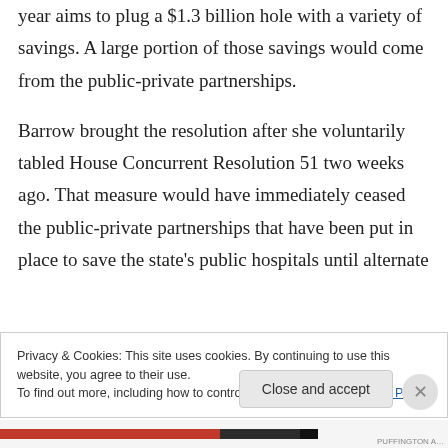year aims to plug a $1.3 billion hole with a variety of savings. A large portion of those savings would come from the public-private partnerships.
Barrow brought the resolution after she voluntarily tabled House Concurrent Resolution 51 two weeks ago. That measure would have immediately ceased the public-private partnerships that have been put in place to save the state's public hospitals until alternate
Privacy & Cookies: This site uses cookies. By continuing to use this website, you agree to their use.
To find out more, including how to control cookies, see here: Cookie Policy